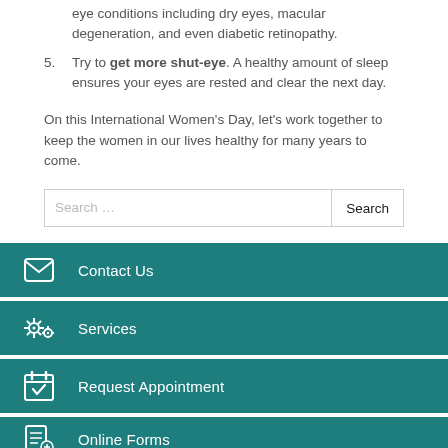eye conditions including dry eyes, macular degeneration, and even diabetic retinopathy.
5. Try to get more shut-eye. A healthy amount of sleep ensures your eyes are rested and clear the next day.
On this International Women's Day, let's work together to keep the women in our lives healthy for many years to come.
Search ...
Contact Us
Services
Request Appointment
Online Forms